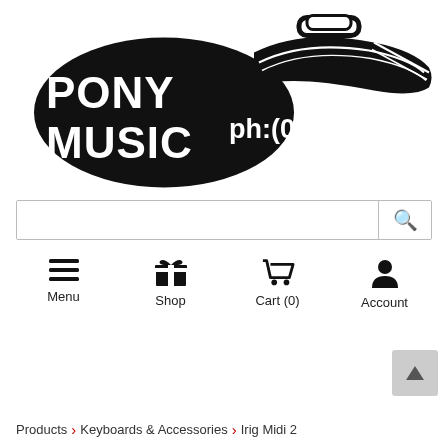[Figure (logo): Pony Music guitar case logo with text 'PONY MUSIC ph:(03)9702 3244' on a black guitar case shape]
Search bar with magnifying glass icon
Menu | Shop | Cart (0) | Account navigation bar
Products > Keyboards & Accessories > Irig Midi 2